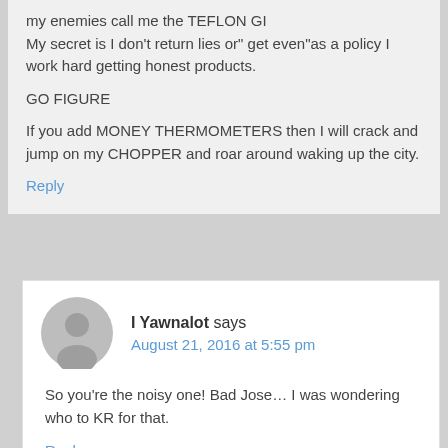my enemies call me the TEFLON GI My secret is I don't return lies or" get even"as a policy I work hard getting honest products.
GO FIGURE
If you add MONEY THERMOMETERS then I will crack and jump on my CHOPPER and roar around waking up the city.
Reply
I Yawnalot says
August 21, 2016 at 5:55 pm
So you're the noisy one! Bad Jose... I was wondering who to KR for that.
Reply